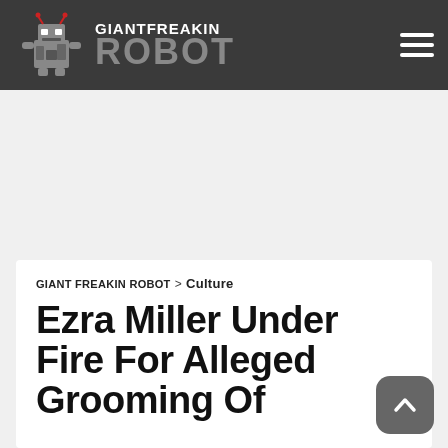GIANT FREAKIN ROBOT
GIANT FREAKIN ROBOT > Culture
Ezra Miller Under Fire For Alleged Grooming Of